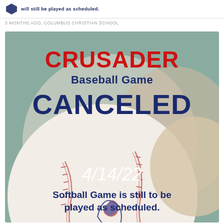will still be played as scheduled.
5 MONTHS AGO, COLUMBUS CHRISTIAN SCHOOL
[Figure (infographic): Crusader Baseball Game CANCELED announcement image with baseball photo. Text reads: CRUSADER Baseball Game CANCELED 4/14/22 Softball Game is still to be played as scheduled.]